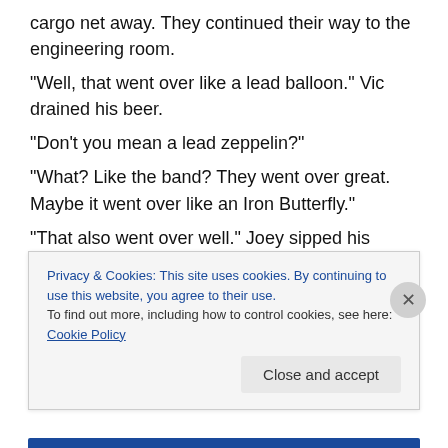cargo net away. They continued their way to the engineering room.
“Well, that went over like a lead balloon.” Vic drained his beer.
“Don’t you mean a lead zeppelin?”
“What? Like the band? They went over great. Maybe it went over like an Iron Butterfly.”
“That also went over well.” Joey sipped his drink. “Maybe it went over like an Iron Maiden?”
Joey was always saying things like this as if Vic would get the reference. “Let me guess, that’s another band from
Privacy & Cookies: This site uses cookies. By continuing to use this website, you agree to their use.
To find out more, including how to control cookies, see here: Cookie Policy